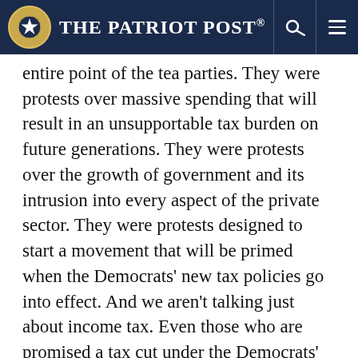The Patriot Post
entire point of the tea parties. They were protests over massive spending that will result in an unsupportable tax burden on future generations. They were protests over the growth of government and its intrusion into every aspect of the private sector. They were protests designed to start a movement that will be primed when the Democrats' new tax policies go into effect. And we aren't talking just about income tax. Even those who are promised a tax cut under the Democrats' plan run the risk of seeing hidden taxes – such as the proposed fees on energy – lead to a net loss of money in their pockets.
What really bothers me is that what is good for the goose is never good for the gander. Many of America's top nonpartisan pollsters come originally